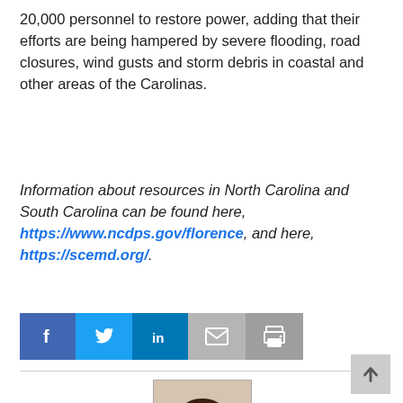20,000 personnel to restore power, adding that their efforts are being hampered by severe flooding, road closures, wind gusts and storm debris in coastal and other areas of the Carolinas.
Information about resources in North Carolina and South Carolina can be found here, https://www.ncdps.gov/florence, and here, https://scemd.org/.
[Figure (infographic): Social media share bar with icons for Facebook, Twitter, LinkedIn, Email, and Print]
[Figure (photo): Headshot photo of a woman with dark hair and glasses wearing a white shirt]
[Figure (other): Back to top arrow button in gray]